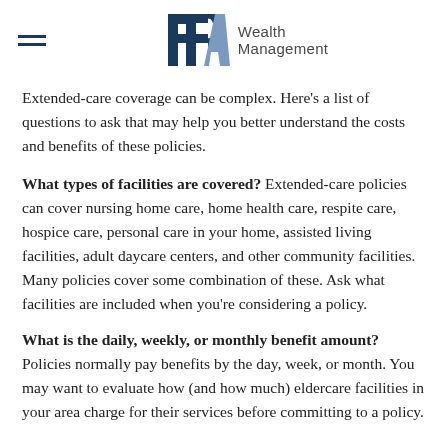FPA Wealth Management
Extended-care coverage can be complex. Here’s a list of questions to ask that may help you better understand the costs and benefits of these policies.
What types of facilities are covered? Extended-care policies can cover nursing home care, home health care, respite care, hospice care, personal care in your home, assisted living facilities, adult daycare centers, and other community facilities. Many policies cover some combination of these. Ask what facilities are included when you’re considering a policy.
What is the daily, weekly, or monthly benefit amount? Policies normally pay benefits by the day, week, or month. You may want to evaluate how (and how much) eldercare facilities in your area charge for their services before committing to a policy.